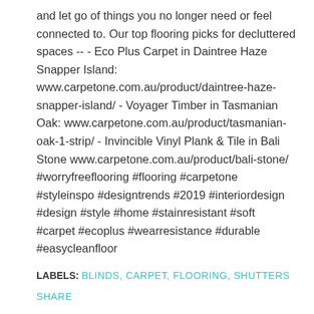and let go of things you no longer need or feel connected to. Our top flooring picks for decluttered spaces -- - Eco Plus Carpet in Daintree Haze Snapper Island: www.carpetone.com.au/product/daintree-haze-snapper-island/ - Voyager Timber in Tasmanian Oak: www.carpetone.com.au/product/tasmanian-oak-1-strip/ - Invincible Vinyl Plank & Tile in Bali Stone www.carpetone.com.au/product/bali-stone/ #worryfreeflooring #flooring #carpetone #styleinspo #designtrends #2019 #interiordesign #design #style #home #stainresistant #soft #carpet #ecoplus #wearresistance #durable #easycleanfloor
LABELS: BLINDS, CARPET, FLOORING, SHUTTERS
SHARE